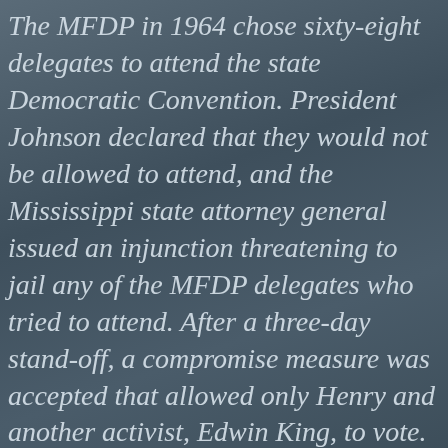The MFDP in 1964 chose sixty-eight delegates to attend the state Democratic Convention. President Johnson declared that they would not be allowed to attend, and the Mississippi state attorney general issued an injunction threatening to jail any of the MFDP delegates who tried to attend. After a three-day stand-off, a compromise measure was accepted that allowed only Henry and another activist, Edwin King, to vote. Henry ran for Congress later that year but was thwarted by state election officials for an insufficient number of ballot signatures.
Due to a dislike of the radical direction of the MFDP, Henry left the organization, creating the Loyalist Democrats and chairing their delegations to the 1968 and 1972 Democratic National Conventions. He